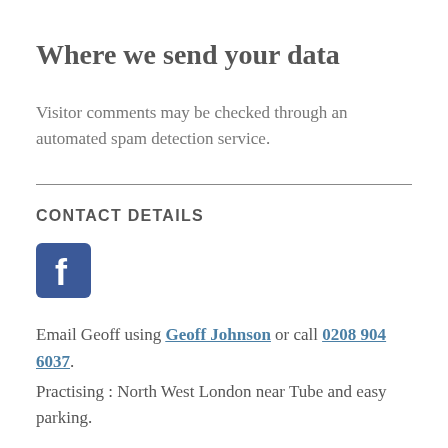Where we send your data
Visitor comments may be checked through an automated spam detection service.
CONTACT DETAILS
[Figure (logo): Facebook logo icon — blue square with white 'f' letter]
Email Geoff using Geoff Johnson or call 0208 904 6037.
Practising : North West London near Tube and easy parking.